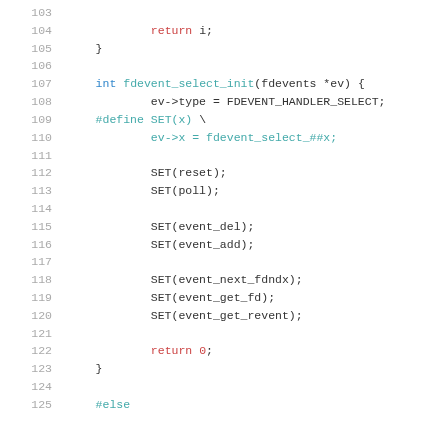[Figure (screenshot): Source code listing lines 103-125 in C, showing fdevent_select_init function with macro definitions and SET() calls, rendered in a monospace code viewer with line numbers and syntax highlighting.]